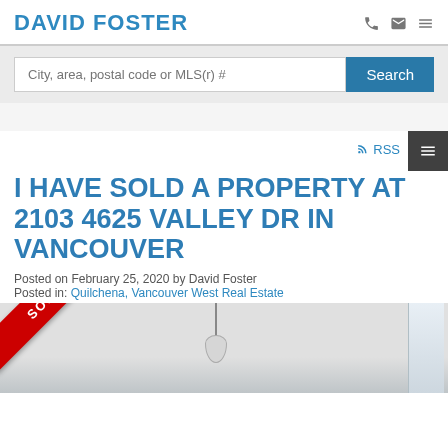DAVID FOSTER
City, area, postal code or MLS(r) #
I HAVE SOLD A PROPERTY AT 2103 4625 VALLEY DR IN VANCOUVER
Posted on February 25, 2020 by David Foster
Posted in: Quilchena, Vancouver West Real Estate
[Figure (photo): Interior room photo with a SOLD ribbon banner in the top-left corner. The room shows a ceiling with a pendant lamp and a window on the right side.]